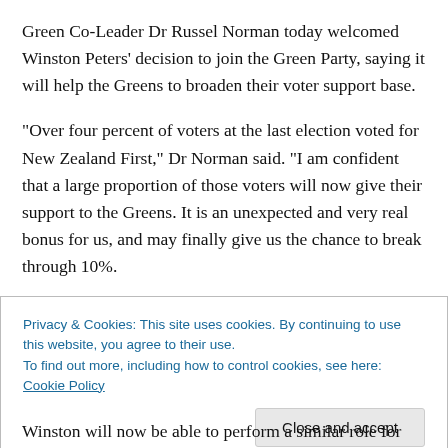Green Co-Leader Dr Russel Norman today welcomed Winston Peters' decision to join the Green Party, saying it will help the Greens to broaden their voter support base.
“Over four percent of voters at the last election voted for New Zealand First,” Dr Norman said. “I am confident that a large proportion of those voters will now give their support to the Greens. It is an unexpected and very real bonus for us, and may finally give us the chance to break through 10%.
Privacy & Cookies: This site uses cookies. By continuing to use this website, you agree to their use. To find out more, including how to control cookies, see here: Cookie Policy
Close and accept
Winston will now be able to perform a similar role for us...